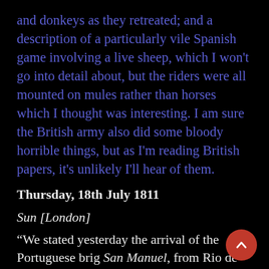and donkeys as they retreated; and a description of a particularly vile Spanish game involving a live sheep, which I won't go into detail about, but the riders were all mounted on mules rather than horses which I thought was interesting. I am sure the British army also did some bloody horrible things, but as I'm reading British papers, it's unlikely I'll hear of them.
Thursday, 18th July 1811
Sun [London]
“We stated yesterday the arrival of the Portuguese brig San Manuel, from Rio de